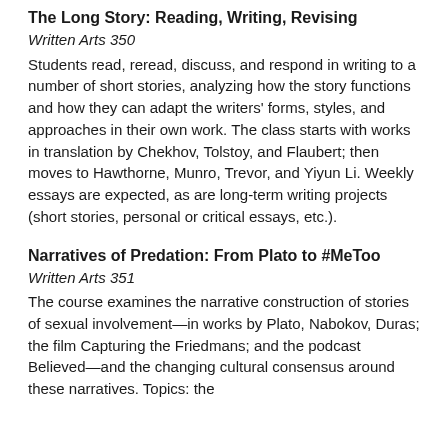The Long Story: Reading, Writing, Revising
Written Arts 350
Students read, reread, discuss, and respond in writing to a number of short stories, analyzing how the story functions and how they can adapt the writers' forms, styles, and approaches in their own work. The class starts with works in translation by Chekhov, Tolstoy, and Flaubert; then moves to Hawthorne, Munro, Trevor, and Yiyun Li. Weekly essays are expected, as are long-term writing projects (short stories, personal or critical essays, etc.).
Narratives of Predation: From Plato to #MeToo
Written Arts 351
The course examines the narrative construction of stories of sexual involvement—in works by Plato, Nabokov, Duras; the film Capturing the Friedmans; and the podcast Believed—and the changing cultural consensus around these narratives. Topics: the